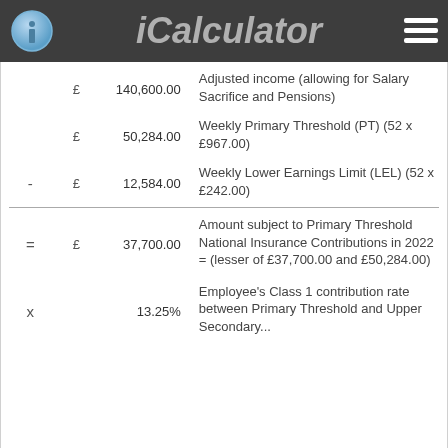iCalculator
| Operator | £ | Amount | Description |
| --- | --- | --- | --- |
|  | £ | 140,600.00 | Adjusted income (allowing for Salary Sacrifice and Pensions) |
|  | £ | 50,284.00 | Weekly Primary Threshold (PT) (52 x £967.00) |
| - | £ | 12,584.00 | Weekly Lower Earnings Limit (LEL) (52 x £242.00) |
| = | £ | 37,700.00 | Amount subject to Primary Threshold National Insurance Contributions in 2022 = (lesser of £37,700.00 and £50,284.00) |
| x |  | 13.25% | Employee's Class 1 contribution rate between Primary Threshold and Upper Secondary... |